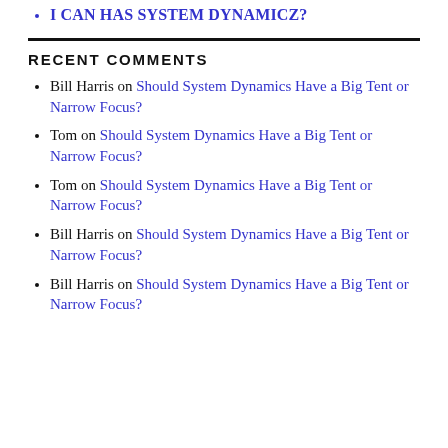I CAN HAS SYSTEM DYNAMICZ?
RECENT COMMENTS
Bill Harris on Should System Dynamics Have a Big Tent or Narrow Focus?
Tom on Should System Dynamics Have a Big Tent or Narrow Focus?
Tom on Should System Dynamics Have a Big Tent or Narrow Focus?
Bill Harris on Should System Dynamics Have a Big Tent or Narrow Focus?
Bill Harris on Should System Dynamics Have a Big Tent or Narrow Focus?